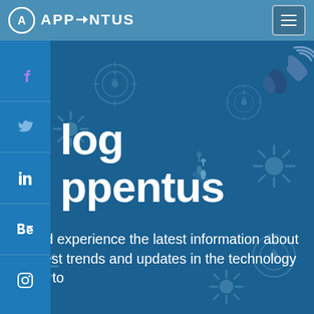[Figure (logo): Appentus logo with circular A icon and APPENTUS wordmark in white on teal header]
[Figure (illustration): Hamburger menu button (three horizontal lines) in top right corner]
[Figure (illustration): Social media sidebar with Facebook, Twitter, LinkedIn, Behance, and Instagram icons]
Blog Appentus
Learn and experience the latest information about the latest trends and updates in the technology market to